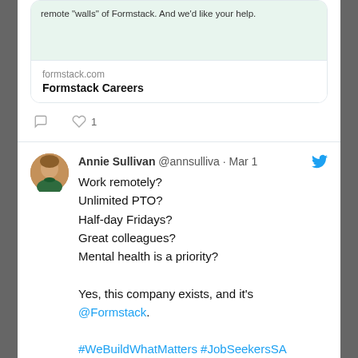[Figure (screenshot): Partial tweet card with green background showing text about Formstack remote walls, a link card showing formstack.com and Formstack Careers, and tweet action icons (comment, 1 like)]
[Figure (screenshot): Tweet by Annie Sullivan (@annsulliva) dated Mar 1 with Twitter bird icon, avatar photo, tweet text listing work benefits and mentioning @Formstack, hashtags #WeBuildWhatMatters #JobSeekersSA #jobsearch #tech, and action icons showing 1 comment and 6 likes]